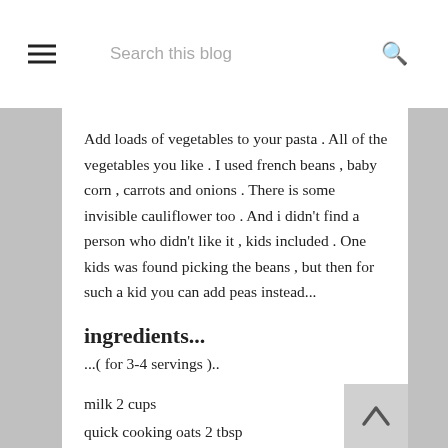Search this blog
Add loads of vegetables to your pasta . All of the vegetables you like . I used french beans , baby corn , carrots and onions . There is some invisible cauliflower too . And i didn't find a person who didn't like it , kids included . One kids was found picking the beans , but then for such a kid you can add peas instead...
ingredients...
...( for 3-4 servings )..
milk 2 cups
quick cooking oats 2 tbsp
grated cauliflowers 1.5 cups
butter 2+2 tsp
garlic 1 tbsp